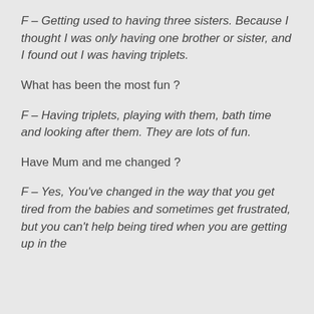F – Getting used to having three sisters. Because I thought I was only having one brother or sister, and I found out I was having triplets.
What has been the most fun ?
F – Having triplets, playing with them, bath time and looking after them. They are lots of fun.
Have Mum and me changed ?
F – Yes, You've changed in the way that you get tired from the babies and sometimes get frustrated, but you can't help being tired when you are getting up in the night.